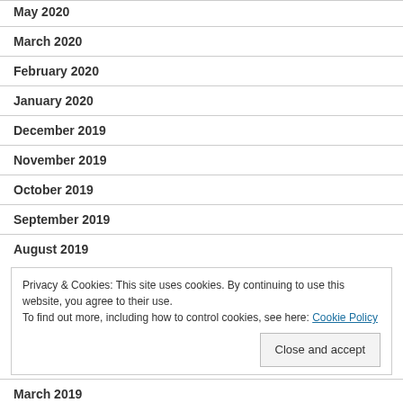May 2020
March 2020
February 2020
January 2020
December 2019
November 2019
October 2019
September 2019
August 2019
Privacy & Cookies: This site uses cookies. By continuing to use this website, you agree to their use.
To find out more, including how to control cookies, see here: Cookie Policy
March 2019